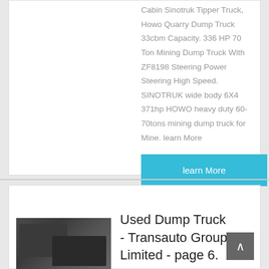Cabin Sinotruk Tipper Truck, Howo Quarry Dump Truck 33cbm Capacity. 336 HP 70 Ton Mining Dump Truck With ZF8198 Steering Power Steering High Speed. SINOTRUK wide body 6X4 371hp HOWO heavy duty 60-70tons mining dump truck for Mine. learn More
learn More
[Figure (photo): Photo of a dark-colored dump truck / heavy truck on a road with trees in the background]
Used Dump Truck - Transauto Group Limited - page 6.
Light Truck manufacturer / supplier in